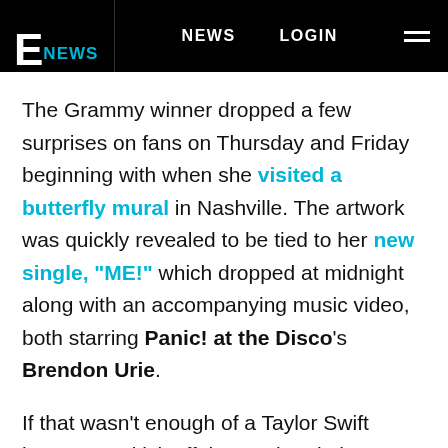E NEWS   NEWS   LOGIN
The Grammy winner dropped a few surprises on fans on Thursday and Friday beginning with when she visited a butterfly mural in Nashville. The artwork was quickly revealed to be tied to her new single, "ME!" which dropped at midnight along with an accompanying music video, both starring Panic! at the Disco's Brendon Urie.
If that wasn't enough of a Taylor Swift bonanza to kick off the weekend, the star also revealed she's welcomed a new member to her family. The 29-year-old cat lover is famously a mom to two cats, Olivia and Meredith, named after TV's Olivia Benson...